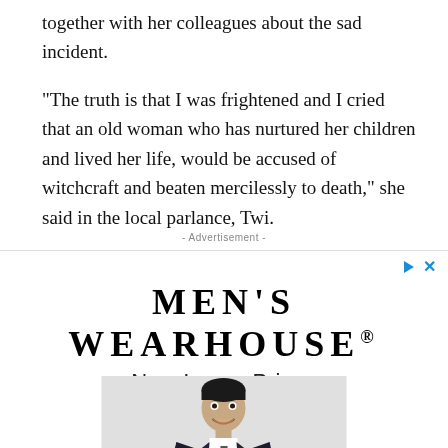together with her colleagues about the sad incident.
“The truth is that I was frightened and I cried that an old woman who has nurtured her children and lived her life, would be accused of witchcraft and beaten mercilessly to death,” she said in the local parlance, Twi.
- Advertisement -
[Figure (infographic): Men's Wearhouse advertisement showing the brand name 'MEN’S WEARHOUSE®', tagline 'New Lower Prices', and a photo of a young boy wearing a dark suit with tie]